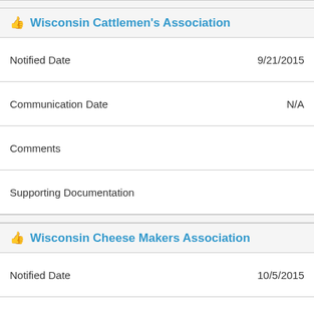Wisconsin Cattlemen's Association
| Field | Value |
| --- | --- |
| Notified Date | 9/21/2015 |
| Communication Date | N/A |
| Comments |  |
| Supporting Documentation |  |
Wisconsin Cheese Makers Association
| Field | Value |
| --- | --- |
| Notified Date | 10/5/2015 |
| Communication Date | N/A |
| Comments |  |
| Supporting Documentation |  |